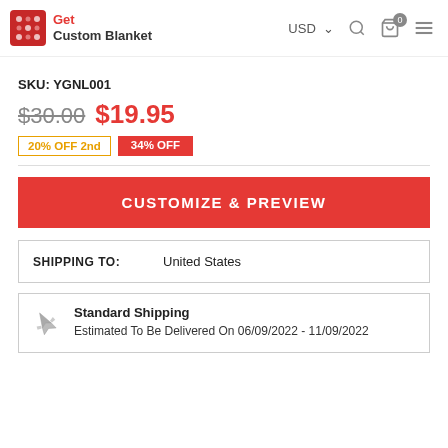Get Custom Blanket — USD — navigation icons
SKU: YGNL001
$30.00  $19.95
20% OFF 2nd   34% OFF
CUSTOMIZE & PREVIEW
| SHIPPING TO: | United States |
| --- | --- |
Standard Shipping
Estimated To Be Delivered On 06/09/2022 - 11/09/2022